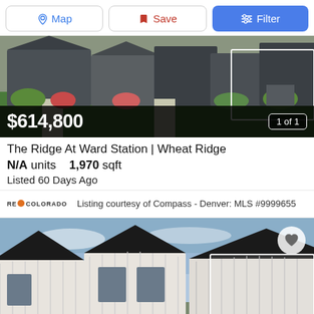[Figure (screenshot): Top navigation bar with Map, Save, and Filter buttons]
[Figure (photo): Exterior photo of townhomes at The Ridge At Ward Station with green lawn and landscaping]
$614,800
1 of 1
The Ridge At Ward Station | Wheat Ridge
N/A units    1,970 sqft
Listed 60 Days Ago
Listing courtesy of Compass - Denver: MLS #9999655
[Figure (photo): Exterior photo of modern townhomes with white board-and-batten siding and dark roofs against blue sky, with white rectangle overlay]